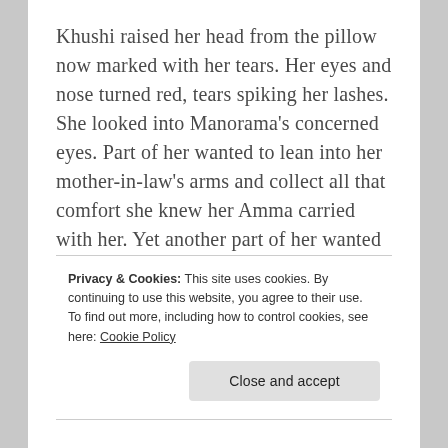Khushi raised her head from the pillow now marked with her tears. Her eyes and nose turned red, tears spiking her lashes. She looked into Manorama's concerned eyes. Part of her wanted to lean into her mother-in-law's arms and collect all that comfort she knew her Amma carried with her. Yet another part of her wanted to crawl back into her pillow and scream her tantrum in solitude. Grief was a confusing struggle, demanding
Privacy & Cookies: This site uses cookies. By continuing to use this website, you agree to their use.
To find out more, including how to control cookies, see here: Cookie Policy
Close and accept